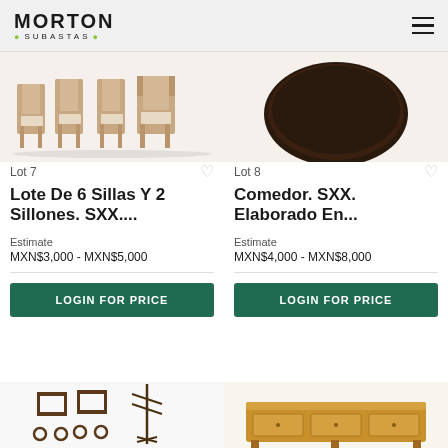MORTON SUBASTAS
[Figure (photo): Lot 7 — set of 6 dining chairs and 2 armchairs, wooden, beige upholstered seats]
Lot 7
Lote De 6 Sillas Y 2 Sillones. SXX....
Estimate
MXN$3,000 - MXN$5,000
LOGIN FOR PRICE
[Figure (photo): Lot 8 — dark circular dining table top, SXX style]
Lot 8
Comedor. SXX. Elaborado En...
Estimate
MXN$4,000 - MXN$8,000
LOGIN FOR PRICE
[Figure (photo): Bottom left: bar cart and iron coat rack]
[Figure (photo): Bottom right: ornate wooden sideboard/credenza]